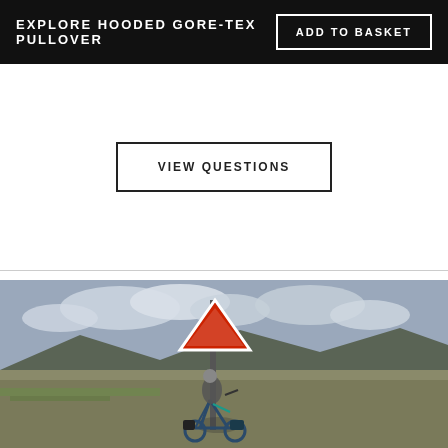EXPLORE HOODED GORE-TEX PULLOVER
ADD TO BASKET
VIEW QUESTIONS
[Figure (photo): A cyclist leaning over their bike next to a road sign in a flat, open landscape with mountains in the background and cloudy sky. A circular scroll-up button and a circular chat button are overlaid on the right side of the image.]